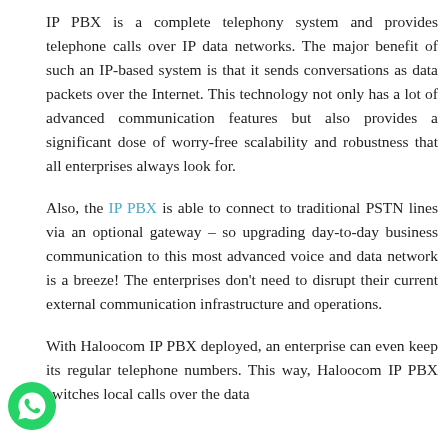IP PBX is a complete telephony system and provides telephone calls over IP data networks. The major benefit of such an IP-based system is that it sends conversations as data packets over the Internet. This technology not only has a lot of advanced communication features but also provides a significant dose of worry-free scalability and robustness that all enterprises always look for.
Also, the IP PBX is able to connect to traditional PSTN lines via an optional gateway – so upgrading day-to-day business communication to this most advanced voice and data network is a breeze! The enterprises don't need to disrupt their current external communication infrastructure and operations.
With Haloocom IP PBX deployed, an enterprise can even keep its regular telephone numbers. This way, Haloocom IP PBX switches local calls over the data
[Figure (logo): WhatsApp green circular icon in the bottom-left corner]